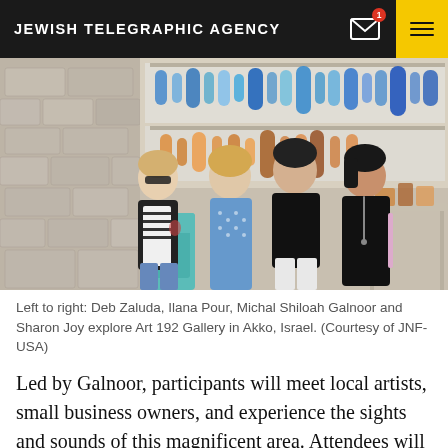JEWISH TELEGRAPHIC AGENCY
[Figure (photo): Four women standing together indoors at Art 192 Gallery in Akko, Israel. Colorful glass art displayed on shelves in the background. Left to right: Deb Zaluda, Ilana Pour, Michal Shiloah Galnoor and Sharon Joy.]
Left to right: Deb Zaluda, Ilana Pour, Michal Shiloah Galnoor and Sharon Joy explore Art 192 Gallery in Akko, Israel. (Courtesy of JNF-USA)
Led by Galnoor, participants will meet local artists, small business owners, and experience the sights and sounds of this magnificent area. Attendees will also